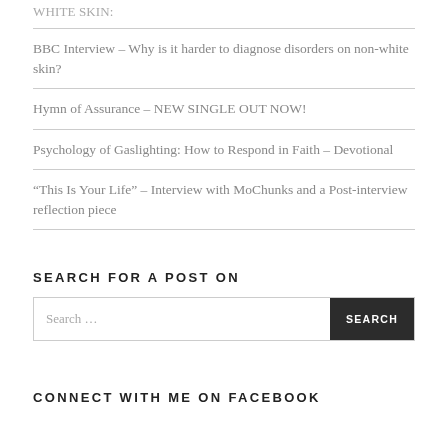WHITE SKIN:
BBC Interview – Why is it harder to diagnose disorders on non-white skin?
Hymn of Assurance – NEW SINGLE OUT NOW!
Psychology of Gaslighting: How to Respond in Faith – Devotional
“This Is Your Life” – Interview with MoChunks and a Post-interview reflection piece
SEARCH FOR A POST ON
CONNECT WITH ME ON FACEBOOK